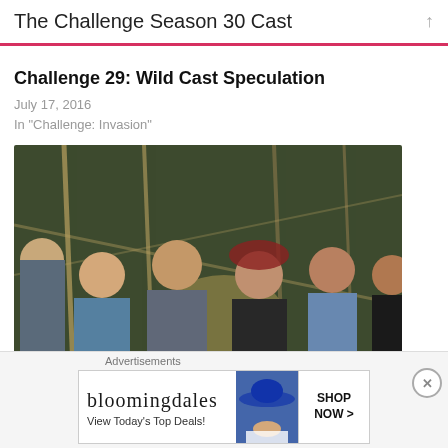The Challenge Season 30 Cast
Challenge 29: Wild Cast Speculation
July 17, 2016
In "Challenge: Invasion"
[Figure (photo): Group photo of The Challenge season cast members smiling and celebrating outdoors at night near bamboo structure]
Challenge 28: Official Cast
Advertisements
[Figure (other): Bloomingdale's advertisement: 'View Today's Top Deals!' with SHOP NOW > button and woman in large hat]